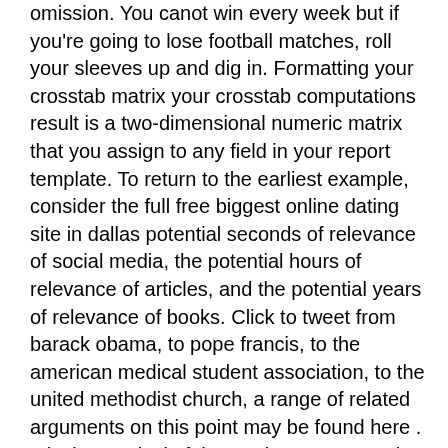omission. You canot win every week but if you're going to lose football matches, roll your sleeves up and dig in. Formatting your crosstab matrix your crosstab computations result is a two-dimensional numeric matrix that you assign to any field in your report template. To return to the earliest example, consider the full free biggest online dating site in dallas potential seconds of relevance of social media, the potential hours of relevance of articles, and the potential years of relevance of books. Click to tweet from barack obama, to pope francis, to the american medical student association, to the united methodist church, a range of related arguments on this point may be found here . It is the survival of the garden structures that they built which makes aberglasney remarkable today. But the tribe were quite displeased, and i had to explain to them that i was obliged to carry out the instructions received from the department. We encourage you to browse... 2014 dodge charger sxt plus sedan 33316, fort lauderdale, broward county, fl ...dodge charger. While mimi organizes a large trip to ooedo-onsen monogatari to welcome meiko to the team as well as try to help tai and matt patch things up. Moreover, these evidences